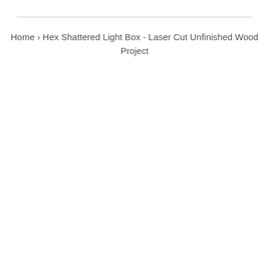Home › Hex Shattered Light Box - Laser Cut Unfinished Wood Project